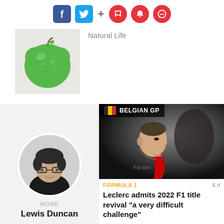[Figure (screenshot): Social media toolbar with Facebook, Twitter, plus, bookmark, bell, and chat icons]
[Figure (photo): Green apple-shaped object on a light background]
Natural Life
[Figure (photo): Black and white circular portrait photo of Lewis Duncan, a young man with glasses]
MORE
Lewis Duncan
[Figure (photo): Belgian GP banner with Belgium flag and a photo of a Formula 1 driver (Leclerc) in profile wearing red race suit]
FORMULA 1
6 d
Leclerc admits 2022 F1 title revival "a very difficult challenge"